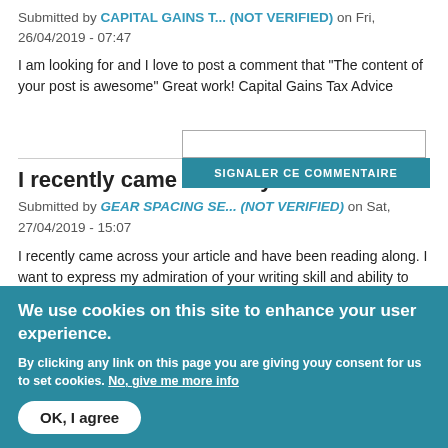Submitted by CAPITAL GAINS T... (NOT VERIFIED) on Fri, 26/04/2019 - 07:47
I am looking for and I love to post a comment that "The content of your post is awesome" Great work! Capital Gains Tax Advice
SIGNALER CE COMMENTAIRE
I recently came across y...
Submitted by GEAR SPACING SE... (NOT VERIFIED) on Sat, 27/04/2019 - 15:07
I recently came across your article and have been reading along. I want to express my admiration of your writing skill and ability to make readers read from the beginning to the end. I would like to read newer posts and to share my thoughts with you. gear
We use cookies on this site to enhance your user experience.
By clicking any link on this page you are giving youy consent for us to set cookies. No, give me more info
OK, I agree